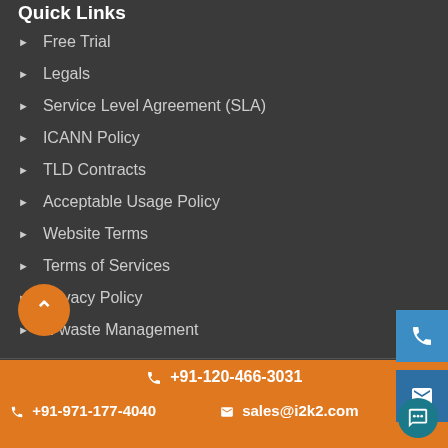Quick Links
Free Trial
Legals
Service Level Agreement (SLA)
ICANN Policy
TLD Contracts
Acceptable Usage Policy
Website Terms
Terms of Services
Privacy Policy
E-waste Management
Registered Office: i2k2 Networks Pvt. Ltd
B-59, Soami Nagar, New Delhi-110017, India
+91-120-466-3031 +91-971-177-4040 sales@i2k2.com